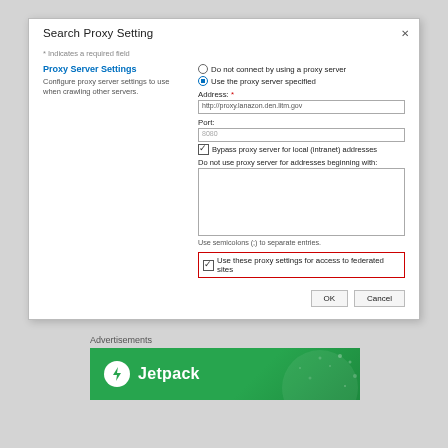[Figure (screenshot): Search Proxy Setting dialog box showing proxy server configuration options including radio buttons for proxy selection, address and port text fields, bypass checkbox, textarea for excluded addresses, federated sites checkbox (highlighted in red border), and OK/Cancel buttons]
Advertisements
[Figure (logo): Jetpack logo on green background with circular bolt icon]